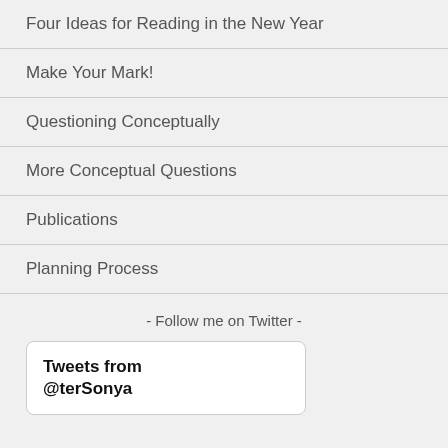Four Ideas for Reading in the New Year
Make Your Mark!
Questioning Conceptually
More Conceptual Questions
Publications
Planning Process
- Follow me on Twitter -
Tweets from @terSonya